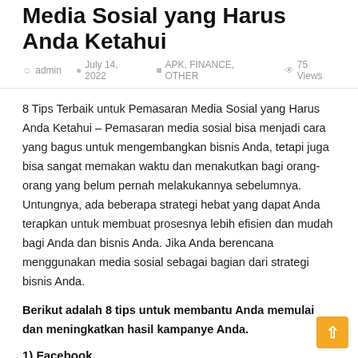Media Sosial yang Harus Anda Ketahui
admin  July 14, 2022  APK, FINANCE, OTHER  75 Views
8 Tips Terbaik untuk Pemasaran Media Sosial yang Harus Anda Ketahui – Pemasaran media sosial bisa menjadi cara yang bagus untuk mengembangkan bisnis Anda, tetapi juga bisa sangat memakan waktu dan menakutkan bagi orang-orang yang belum pernah melakukannya sebelumnya. Untungnya, ada beberapa strategi hebat yang dapat Anda terapkan untuk membuat prosesnya lebih efisien dan mudah bagi Anda dan bisnis Anda. Jika Anda berencana menggunakan media sosial sebagai bagian dari strategi bisnis Anda.
Berikut adalah 8 tips untuk membantu Anda memulai dan meningkatkan hasil kampanye Anda.
1) Facebook
Langkah pertama dalam kampanye pemasaran media sosial yang sukses adalah membuat halaman Facebook untuk bisnis Anda. Anda